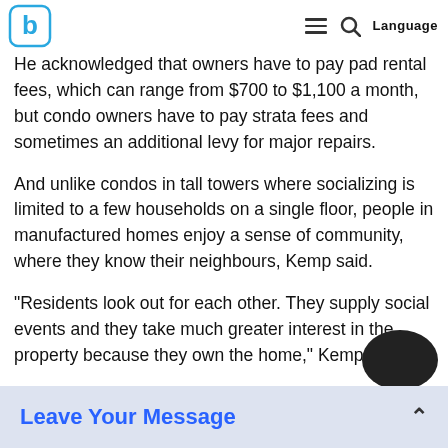b [logo] | [hamburger menu] [search] Language
He acknowledged that owners have to pay pad rental fees, which can range from $700 to $1,100 a month, but condo owners have to pay strata fees and sometimes an additional levy for major repairs.
And unlike condos in tall towers where socializing is limited to a few households on a single floor, people in manufactured homes enjoy a sense of community, where they know their neighbours, Kemp said.
"Residents look out for each other. They supply social events and they take much greater interest in the property because they own the home," Kemp said.
Over the years the stigma attached to living in a "mobile home" has disappeared as newer homes are built to national standards, which makes them more like a wood-frame house with drywall, weather-proofing and a 25-year roof, he said.
And with greate...
Leave Your Message